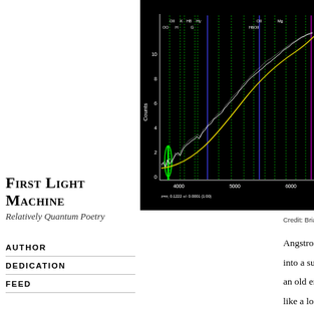[Figure (continuous-plot): Astronomical spectrum plot on black background showing counts vs wavelength in Angstroms (4000-6000+). Green dotted vertical lines mark spectral features labeled: OII, K, H8, Hy, OII, Mg at top; OO, H, G, H6OII at bottom left. Blue vertical lines mark additional features. White jagged spectrum line with yellow fitted curve overlaid. Green emission feature at far left. Bottom shows redshift info: z=0.1222 +/- 0.0001 (1:00). X-axis shows wavelengths 4000, 5000, 6000+. Y-axis labeled 'Counts' with values 2, 4, 6, 8, 10.]
Credit: Brian Wilhite, University of Chicago
First Light Machine
Relatively Quantum Poetry
AUTHOR
DEDICATION
FEED
Angstroms respectively run
into a sun
an old ending now done
like a loner
with the calmness